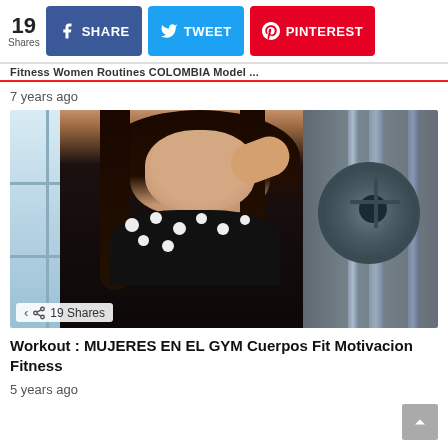19 Shares | SHARE | TWEET | PINTEREST
Fitness Women Routines COLOMBIA Model
7 years ago
[Figure (photo): Woman in gym taking a selfie wearing black polka-dot sports bra and black leggings, standing in front of large windows with gym equipment and weight plates visible in background. Overlay shows 19 Shares.]
Workout : MUJERES EN EL GYM Cuerpos Fit Motivacion Fitness
5 years ago